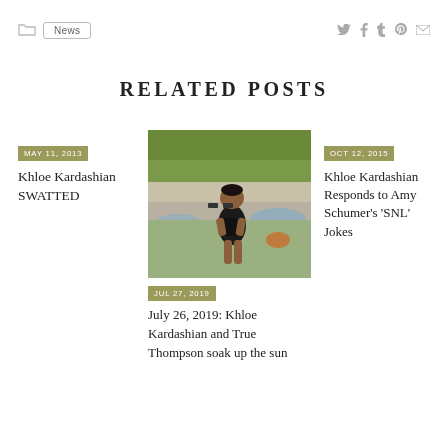News | social icons: twitter, facebook, tumblr, pinterest, email
RELATED POSTS
MAY 11, 2013
Khloe Kardashian SWATTED
[Figure (photo): Young child in black swimsuit standing near a pool with green foliage in background]
JUL 27, 2019
July 26, 2019: Khloe Kardashian and True Thompson soak up the sun
OCT 12, 2015
Khloe Kardashian Responds to Amy Schumer's 'SNL' Jokes